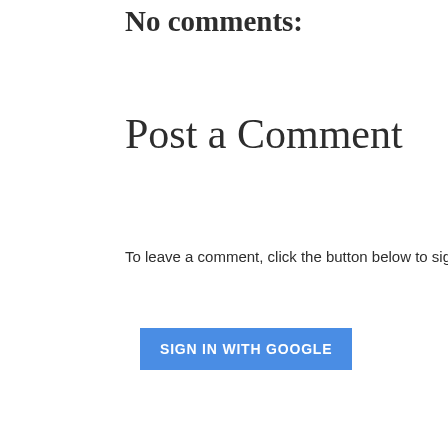No comments:
Post a Comment
To leave a comment, click the button below to sign in w
SIGN IN WITH GOOGLE
Newer Post · · · · · · · · · · · · · · · · · ·
Subscribe to: Post Comments (Atom)